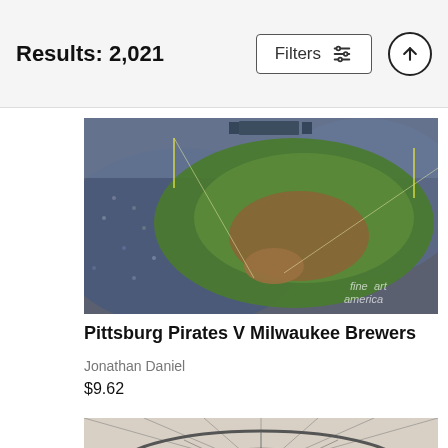Results: 2,021
Filters
[Figure (photo): Aerial view of baseball stadium with crowd - Pittsburg Pirates V Milwaukee Brewers]
Pittsburg Pirates V Milwaukee Brewers
Jonathan Daniel
$9.62
[Figure (photo): Interior view of stadium dome roof structure with circular rings]